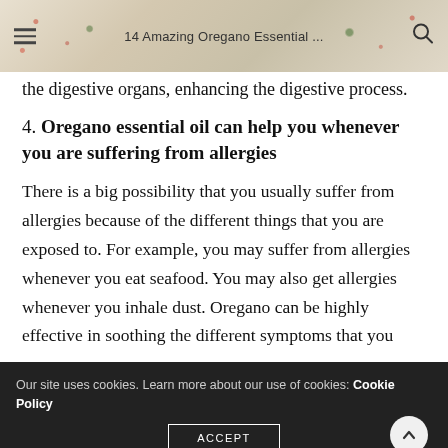14 Amazing Oregano Essential ...
the digestive organs, enhancing the digestive process.
4. Oregano essential oil can help you whenever you are suffering from allergies
There is a big possibility that you usually suffer from allergies because of the different things that you are exposed to. For example, you may suffer from allergies whenever you eat seafood. You may also get allergies whenever you inhale dust. Oregano can be highly effective in soothing the different symptoms that you
Our site uses cookies. Learn more about our use of cookies: Cookie Policy ACCEPT